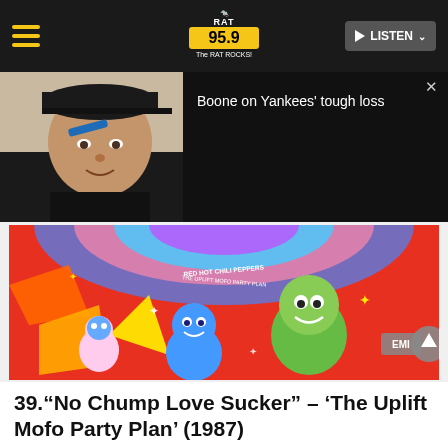RAT 95.9 The RAT ROCKS! — LISTEN
[Figure (screenshot): Video popup overlay: man in baseball cap with face paint on left; dark popup panel on right with text 'Boone on Yankees' tough loss' and X close button]
[Figure (photo): Colorful psychedelic album art for Red Hot Chili Peppers 'The Uplift Mofo Party Plan' (1987), featuring cartoon characters on red/orange/pink background. EMI label visible.]
39.“No Chump Love Sucker” – ‘The Uplift Mofo Party Plan’ (1987)
Share